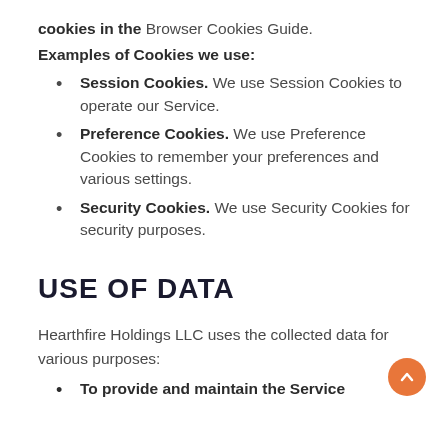cookies in the Browser Cookies Guide.
Examples of Cookies we use:
Session Cookies. We use Session Cookies to operate our Service.
Preference Cookies. We use Preference Cookies to remember your preferences and various settings.
Security Cookies. We use Security Cookies for security purposes.
USE OF DATA
Hearthfire Holdings LLC uses the collected data for various purposes:
To provide and maintain the Service